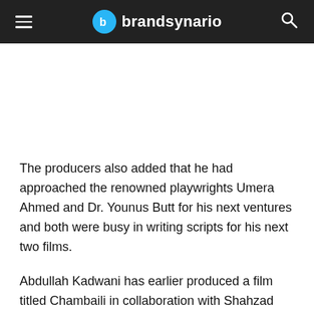brandsynario
The producers also added that he had approached the renowned playwrights Umera Ahmed and Dr. Younus Butt for his next ventures and both were busy in writing scripts for his next two films.
Abdullah Kadwani has earlier produced a film titled Chambaili in collaboration with Shahzad Nawaz of Coup d'état Films.